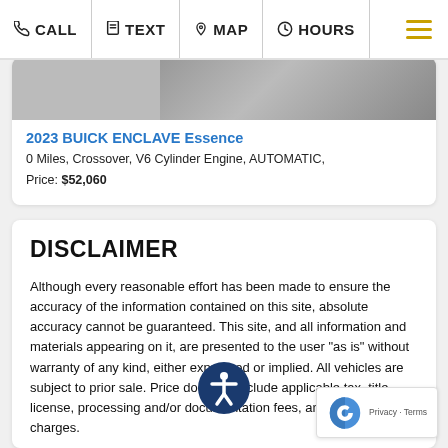CALL | TEXT | MAP | HOURS
2023 BUICK ENCLAVE Essence
0 Miles, Crossover, V6 Cylinder Engine, AUTOMATIC,
Price: $52,060
DISCLAIMER
Although every reasonable effort has been made to ensure the accuracy of the information contained on this site, absolute accuracy cannot be guaranteed. This site, and all information and materials appearing on it, are presented to the user "as is" without warranty of any kind, either expressed or implied. All vehicles are subject to prior sale. Price does not include applicable tax, title, license, processing and/or documentation fees, and destination charges.